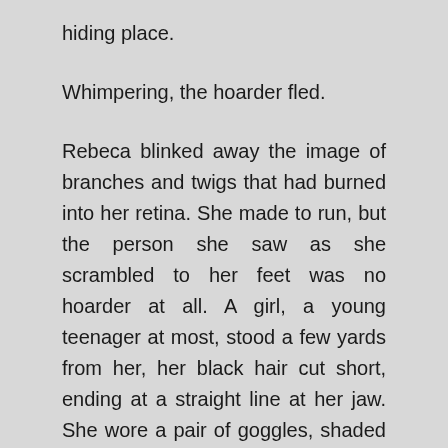hiding place.
Whimpering, the hoarder fled.
Rebeca blinked away the image of branches and twigs that had burned into her retina. She made to run, but the person she saw as she scrambled to her feet was no hoarder at all. A girl, a young teenager at most, stood a few yards from her, her black hair cut short, ending at a straight line at her jaw. She wore a pair of goggles, shaded black such that her eyes looked like two large gaping holes. She held the casing of a utility light aloft like a lantern, and smoke rose up from the empty wire cage.
“Magnesium powder,” the girl said, pushing back her goggles to reveal a set of light blue eyes. “Same the…